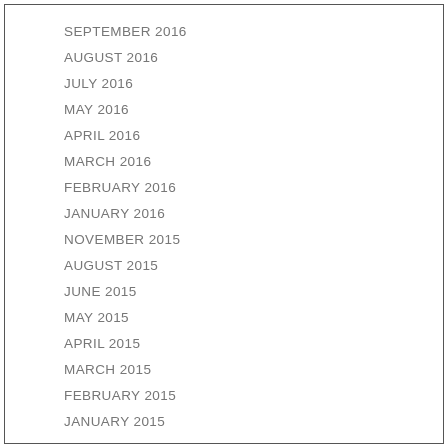SEPTEMBER 2016
AUGUST 2016
JULY 2016
MAY 2016
APRIL 2016
MARCH 2016
FEBRUARY 2016
JANUARY 2016
NOVEMBER 2015
AUGUST 2015
JUNE 2015
MAY 2015
APRIL 2015
MARCH 2015
FEBRUARY 2015
JANUARY 2015